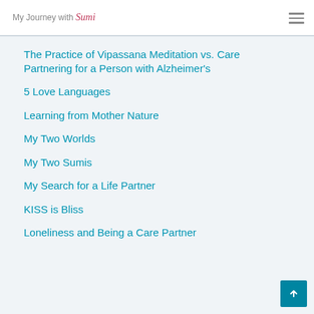My Journey with Sumi
The Practice of Vipassana Meditation vs. Care Partnering for a Person with Alzheimer's
5 Love Languages
Learning from Mother Nature
My Two Worlds
My Two Sumis
My Search for a Life Partner
KISS is Bliss
Loneliness and Being a Care Partner